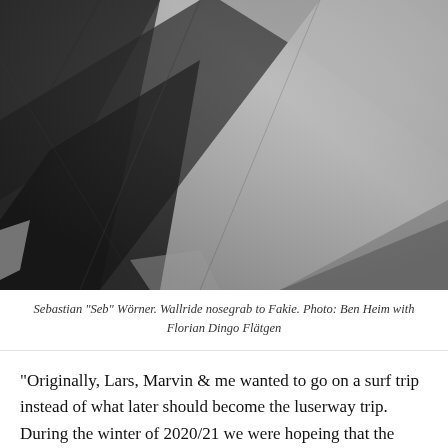[Figure (photo): Black and white close-up photo of what appears to be a skateboard wallride nosegrab, showing angular concrete or ramp surfaces with dramatic shadows and abstract geometry.]
Sebastian "Seb" Wörner. Wallride nosegrab to Fakie. Photo: Ben Heim with Florian Dingo Flätgen
“Originally, Lars, Marvin & me wanted to go on a surf trip instead of what later should become the luserway trip. During the winter of 2020/21 we were hopeing that the pandemic situation will fade away by spring 2021. This did not happen, so